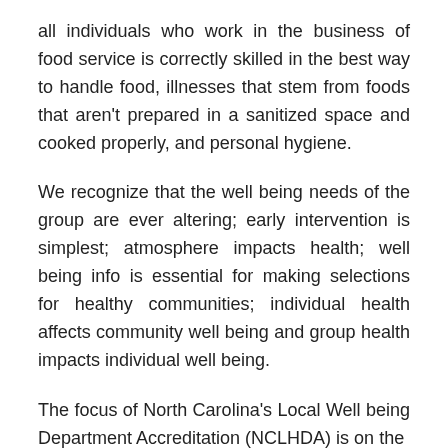all individuals who work in the business of food service is correctly skilled in the best way to handle food, illnesses that stem from foods that aren't prepared in a sanitized space and cooked properly, and personal hygiene.
We recognize that the well being needs of the group are ever altering; early intervention is simplest; atmosphere impacts health; well being info is essential for making selections for healthy communities; individual health affects community well being and group health impacts individual well being.
The focus of North Carolina's Local Well being Department Accreditation (NCLHDA) is on the